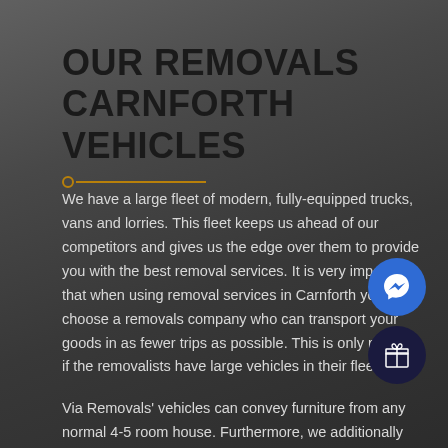OUR REMOVALS CARNFORTH VEHICLES
We have a large fleet of modern, fully-equipped trucks, vans and lorries. This fleet keeps us ahead of our competitors and gives us the edge over them to provide you with the best removal services. It is very important that when using removal services in Carnforth you choose a removals company who can transport your goods in as fewer trips as possible. This is only possible if the removalists have large vehicles in their fleet.
Via Removals' vehicles can convey furniture from any normal 4-5 room house. Furthermore, we additionally have a huge encased reason fabricated trailers, which